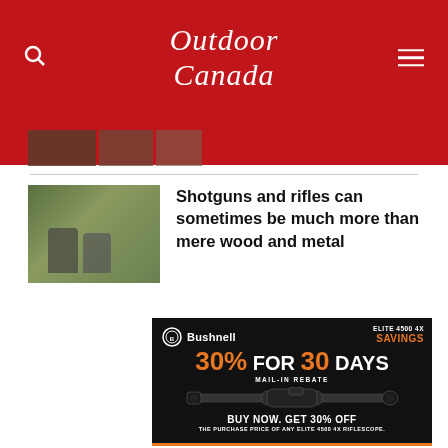Outdoor Canada
[Figure (photo): Small thumbnail image of two hunters posing outdoors]
Shotguns and rifles can sometimes be much more than mere wood and metal
[Figure (advertisement): Bushnell Elite 4500 4X advertisement: 30% for 30 days mail-in rebate. Buy Now. Get 30% off the purchase price of any Elite 4500 4X riflescope.]